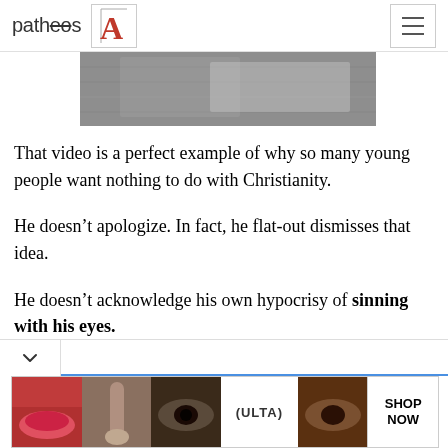patheos [logo with A icon and hamburger menu]
[Figure (photo): Black and white partial hero image showing hands or objects, cropped at top]
That video is a perfect example of why so many young people want nothing to do with Christianity.
He doesn’t apologize. In fact, he flat-out dismisses that idea.
He doesn’t acknowledge his own hypocrisy of sinning with his eyes.
[Figure (photo): ULTA beauty advertisement banner showing makeup and eye photos with SHOP NOW text]